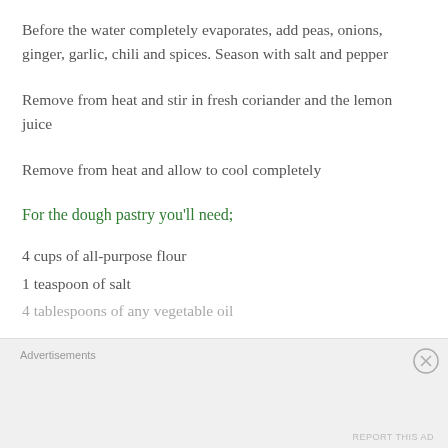Before the water completely evaporates, add peas, onions, ginger, garlic, chili and spices. Season with salt and pepper
Remove from heat and stir in fresh coriander and the lemon juice
Remove from heat and allow to cool completely
For the dough pastry you'll need;
4 cups of all-purpose flour
1 teaspoon of salt
4 tablespoons of any vegetable oil
Advertisements
REPORT THIS AD